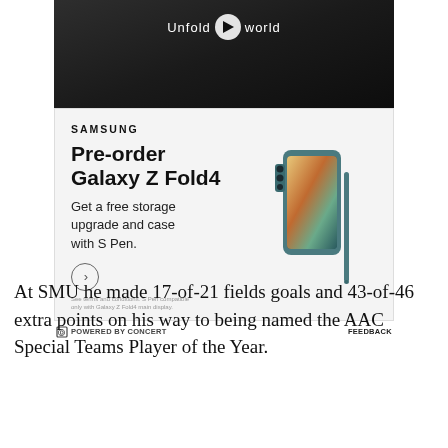[Figure (screenshot): Samsung advertisement for pre-ordering Galaxy Z Fold4 with a dark video banner on top showing 'Unfold your world' and a play button, below which is a light grey ad panel with Samsung branding, product title 'Pre-order Galaxy Z Fold4', tagline 'Get a free storage upgrade and case with S Pen.', a circular CTA arrow button, fine print, and a product image of the phone folded with S Pen. Below the ad is a 'Powered by Concert' and 'Feedback' attribution bar.]
At SMU he made 17-of-21 fields goals and 43-of-46 extra points on his way to being named the AAC Special Teams Player of the Year.